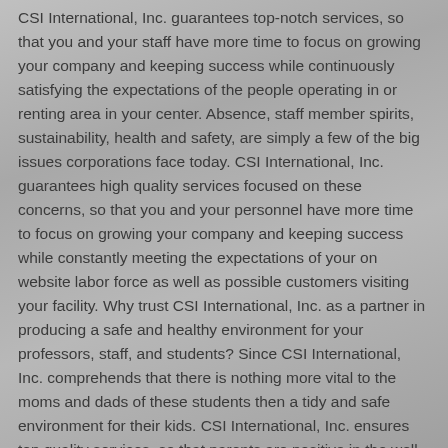CSI International, Inc. guarantees top-notch services, so that you and your staff have more time to focus on growing your company and keeping success while continuously satisfying the expectations of the people operating in or renting area in your center. Absence, staff member spirits, sustainability, health and safety, are simply a few of the big issues corporations face today. CSI International, Inc. guarantees high quality services focused on these concerns, so that you and your personnel have more time to focus on growing your company and keeping success while constantly meeting the expectations of your on website labor force as well as possible customers visiting your facility. Why trust CSI International, Inc. as a partner in producing a safe and healthy environment for your professors, staff, and students? Since CSI International, Inc. comprehends that there is nothing more vital to the moms and dads of these students then a tidy and safe environment for their kids. CSI International, Inc. ensures top quality services, so that parents are positive in the well being of their kids which in turn allows you and your personnel to have more time to focus on your service of guiding your students to their